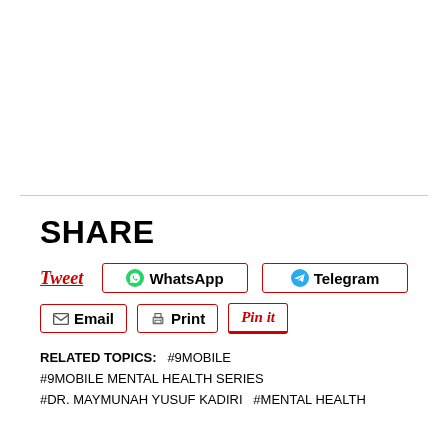SHARE
Tweet   WhatsApp   Telegram   Email   Print   Pin it
RELATED TOPICS:   #9MOBILE   #9MOBILE MENTAL HEALTH SERIES   #DR. MAYMUNAH YUSUF KADIRI   #MENTAL HEALTH